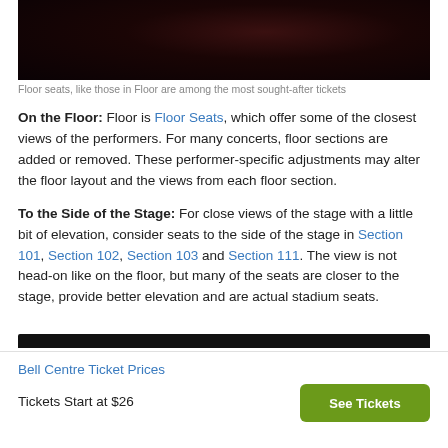[Figure (photo): Dark concert photo, floor level view]
Floor seats, like those in Floor are among the most sought-after tickets
On the Floor: Floor is Floor Seats, which offer some of the closest views of the performers. For many concerts, floor sections are added or removed. These performer-specific adjustments may alter the floor layout and the views from each floor section.
To the Side of the Stage: For close views of the stage with a little bit of elevation, consider seats to the side of the stage in Section 101, Section 102, Section 103 and Section 111. The view is not head-on like on the floor, but many of the seats are closer to the stage, provide better elevation and are actual stadium seats.
[Figure (photo): Partial dark stadium image at bottom]
Bell Centre Ticket Prices
Tickets Start at $26
See Tickets